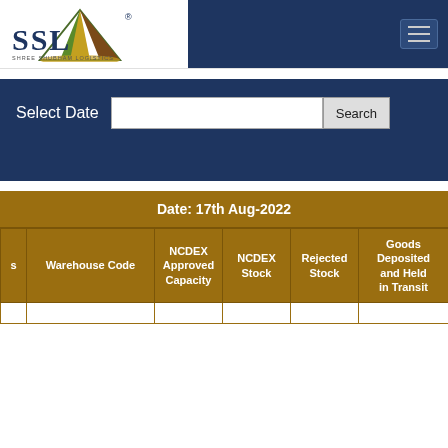[Figure (logo): SSL - Shree Shubham Logistics logo with triangle icon in green and brown colors]
Select Date
| s | Warehouse Code | NCDEX Approved Capacity | NCDEX Stock | Rejected Stock | Goods Deposited and Held in Transit |
| --- | --- | --- | --- | --- | --- |
|  |  |  |  |  |  |